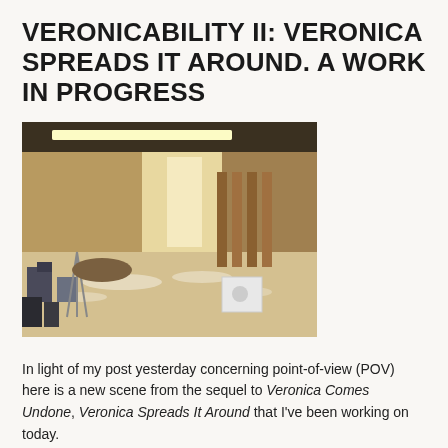VERONICABILITY II: VERONICA SPREADS IT AROUND. A WORK IN PROGRESS
[Figure (photo): Interior photo of a room under construction or renovation, with scattered debris on the floor, wooden partition columns in the center-right, overhead fluorescent lighting, and various construction materials and equipment visible.]
In light of my post yesterday concerning point-of-view (POV) here is a new scene from the sequel to Veronica Comes Undone, Veronica Spreads It Around that I've been working on today.